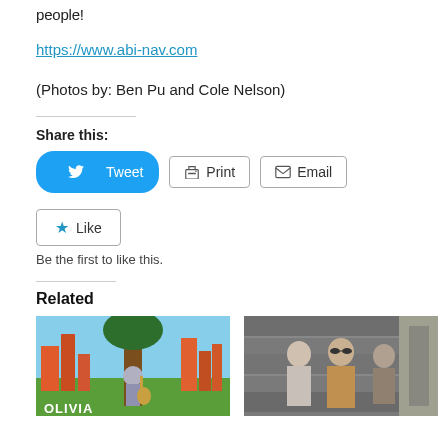people!
https://www.abi-nav.com
(Photos by: Ben Pu and Cole Nelson)
Share this:
Tweet
Print
Email
Like
Be the first to like this.
Related
[Figure (photo): Album cover for OLIVIA showing a musician with a guitar against a colorful illustrated cityscape background]
[Figure (photo): Band photo of three young men standing against a stone wall outdoors]